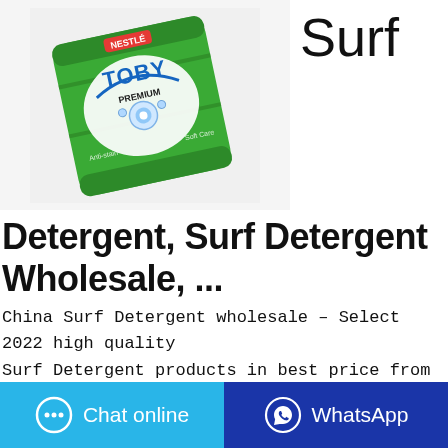[Figure (photo): Green package of Toby Premium laundry detergent powder on white background]
Surf
Detergent, Surf Detergent Wholesale, ...
China Surf Detergent wholesale – Select 2022 high quality Surf Detergent products in best price from certified Chinese Powder Detergent manufacturers, Washing Detergent suppliers, wholesalers and factory on Made-in-China … Household Chemical Detergent Powder/Washing Powder/Laundry Detergent Powder-Manufacturer  US$
Chat online
WhatsApp